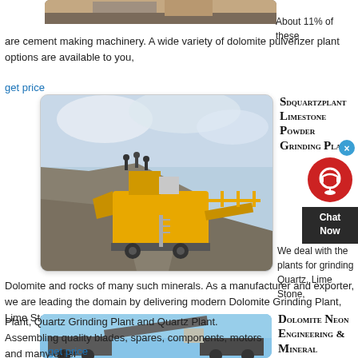[Figure (photo): Partial view of mining/quarry equipment at top of page]
About 11% of these are cement making machinery. A wide variety of dolomite pulverizer plant options are available to you,
get price
[Figure (photo): Yellow mobile crushing/grinding plant at a quarry site with workers and stone piles]
Sdquartzplant Limestone Powder Grinding Plant
[Figure (other): Chat Now widget with red circle icon and dark background]
We deal with the plants for grinding Quartz, Lime Stone, Dolomite and rocks of many such minerals. As a manufacturer and exporter, we are leading the domain by delivering modern Dolomite Grinding Plant, Lime Stone Grinding Plant, Quartz Grinding Plant and Quartz Plant. Assembling quality blades, spares, components, motors and many other
get price
Dolomite Neon Engineering & Mineral
[Figure (photo): Mining machinery/conveyor equipment against blue sky]